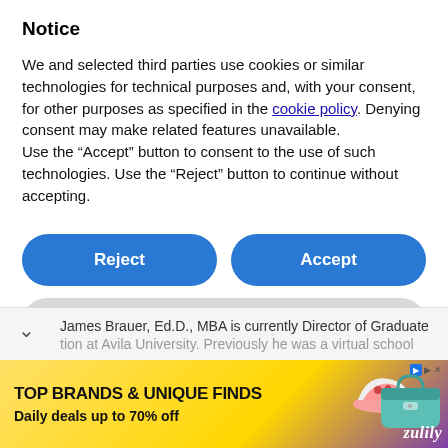Notice
We and selected third parties use cookies or similar technologies for technical purposes and, with your consent, for other purposes as specified in the cookie policy. Denying consent may make related features unavailable.
Use the “Accept” button to consent to the use of such technologies. Use the “Reject” button to continue without accepting.
[Figure (screenshot): Two blue pill-shaped buttons side by side: 'Reject' on the left and 'Accept' on the right]
[Figure (screenshot): A gray pill-shaped button labeled 'Learn more and customize']
James Brauer, Ed.D., MBA is currently Director of Graduate
tion at Avila University. Previously he was a virtual school
[Figure (infographic): Advertisement banner: 'TOP BRANDS & UNIQUE FINDS / Daily deals up to 70% off' with shoe and bag images and Zulily logo]